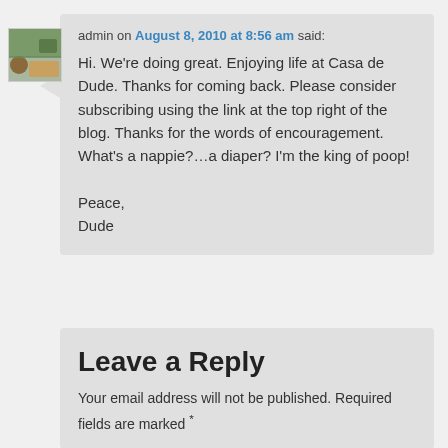admin on August 8, 2010 at 8:56 am said:
Hi. We're doing great. Enjoying life at Casa de Dude. Thanks for coming back. Please consider subscribing using the link at the top right of the blog. Thanks for the words of encouragement. What's a nappie?…a diaper? I'm the king of poop!

Peace,
Dude
Leave a Reply
Your email address will not be published. Required fields are marked *